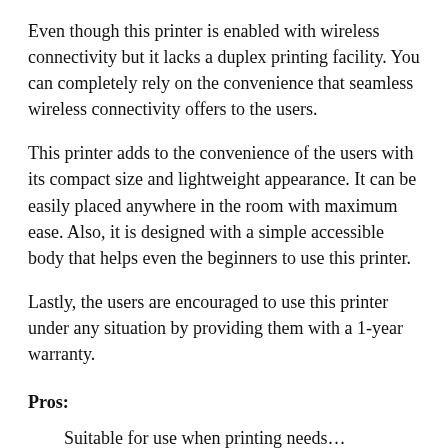Even though this printer is enabled with wireless connectivity but it lacks a duplex printing facility. You can completely rely on the convenience that seamless wireless connectivity offers to the users.
This printer adds to the convenience of the users with its compact size and lightweight appearance. It can be easily placed anywhere in the room with maximum ease. Also, it is designed with a simple accessible body that helps even the beginners to use this printer.
Lastly, the users are encouraged to use this printer under any situation by providing them with a 1-year warranty.
Pros:
Suitable for use when printing needs…